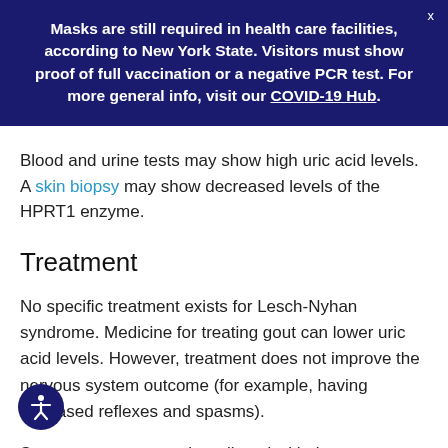Masks are still required in health care facilities, according to New York State. Visitors must show proof of full vaccination or a negative PCR test. For more general info, visit our COVID-19 Hub.
Blood and urine tests may show high uric acid levels. A skin biopsy may show decreased levels of the HPRT1 enzyme.
Treatment
No specific treatment exists for Lesch-Nyhan syndrome. Medicine for treating gout can lower uric acid levels. However, treatment does not improve the nervous system outcome (for example, having increased reflexes and spasms).
Some symptoms may be relieved with these medicines: